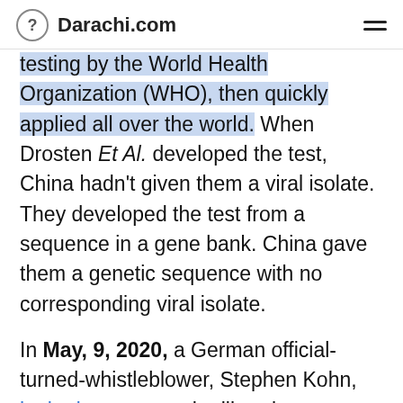? Darachi.com
testing by the World Health Organization (WHO), then quickly applied all over the world. When Drosten Et Al. developed the test, China hadn't given them a viral isolate. They developed the test from a sequence in a gene bank. China gave them a genetic sequence with no corresponding viral isolate.
In May, 9, 2020, a German official-turned-whistleblower, Stephen Kohn, leaked a report to the liberal-conservative magazine Tichys Einblick. The report was the initiative of a department of the interior ministry called Unit KM4 and in charge with the "Protection of